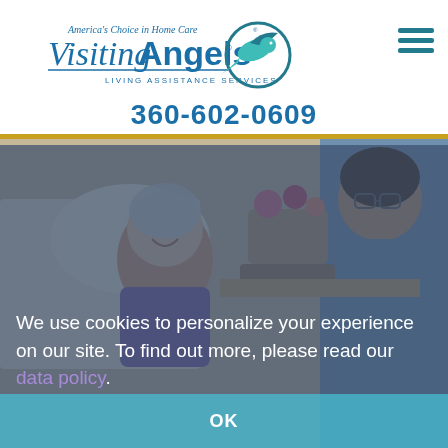[Figure (logo): Visiting Angels logo with bird and text 'America's Choice in Home Care' and 'Living Assistance Services']
360-602-0609
[Figure (photo): Elderly woman smiling at a caregiver in scrubs, with flowers in background]
We use cookies to personalize your experience on our site. To find out more, please read our data policy.
OK